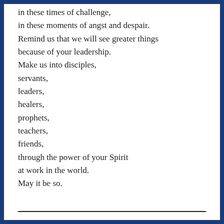in these times of challenge,
in these moments of angst and despair.
Remind us that we will see greater things
because of your leadership.
Make us into disciples,
servants,
leaders,
healers,
prophets,
teachers,
friends,
through the power of your Spirit
at work in the world.
May it be so.